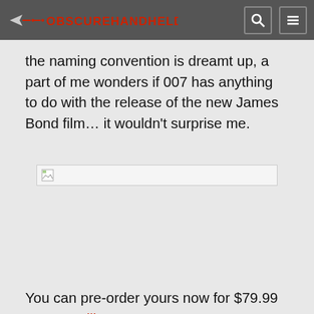OBSCUREHANDHELDS
the naming convention is dreamt up, a part of me wonders if 007 has anything to do with the release of the new James Bond film… it wouldn't surprise me.
[Figure (photo): Broken image placeholder]
You can pre-order yours now for $79.99 over at Willgoo